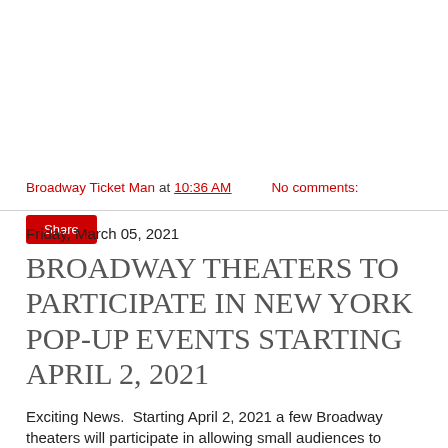Broadway Ticket Man at 10:36 AM    No comments:
Share
Friday, March 05, 2021
BROADWAY THEATERS TO PARTICIPATE IN NEW YORK POP-UP EVENTS STARTING APRIL 2, 2021
Exciting News.  Starting April 2, 2021 a few Broadway theaters will participate in allowing small audiences to attend some non Bwy show type events after negative Covid tests as a means of helping the city to start to bring back Broadway.
Checkout this link below under LATEST BROADWAY UPDATE and